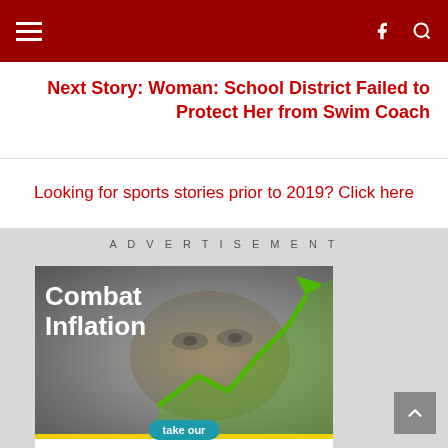Navigation header bar with hamburger menu, Facebook icon, and search icon
Next Story: Woman: School District Failed to Protect Her from Swim Coach
Looking for sports stories prior to 2019? Click here
ADVERTISEMENT
[Figure (illustration): Advertisement for 'Combat Inflation - Lowest Payment Challenge' featuring a close-up of a dollar bill with a green upward trending arrow, and text listing: take our Lowest Payment Challenge to lower your: Credit card payments, Car payments, House payments]